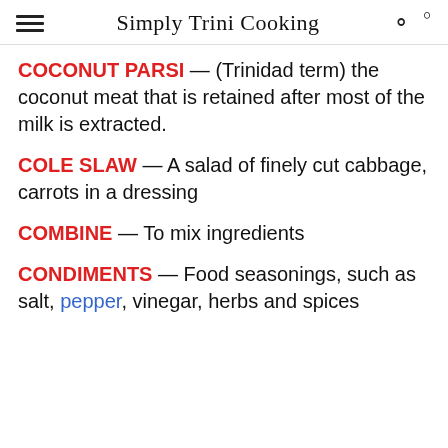Simply Trini Cooking
COCONUT PARSI — (Trinidad term) the coconut meat that is retained after most of the milk is extracted.
COLE SLAW — A salad of finely cut cabbage, carrots in a dressing
COMBINE — To mix ingredients
CONDIMENTS — Food seasonings, such as salt, pepper, vinegar, herbs and spices